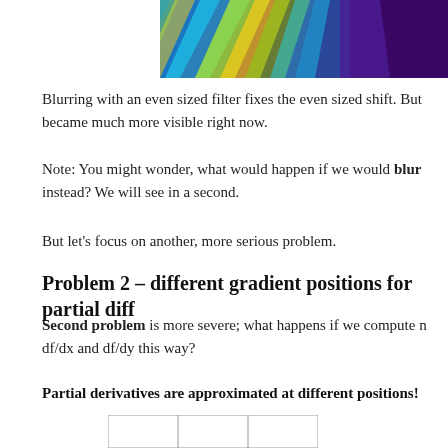[Figure (other): Colorful gradient visualization image (purple, teal, green, yellow spectrum pattern) shown at the top of the page, partially cropped.]
Blurring with an even sized filter fixes the even sized shift. But became much more visible right now.
Note: You might wonder, what would happen if we would blur instead? We will see in a second.
But let's focus on another, more serious problem.
Problem 2 – different gradient positions for partial diff
Second problem is more severe; what happens if we compute n df/dx and df/dy this way?
Partial derivatives are approximated at different positions!
[Figure (table-as-image): Partial table grid visible at the bottom of the page, showing an empty 3-column grid structure.]